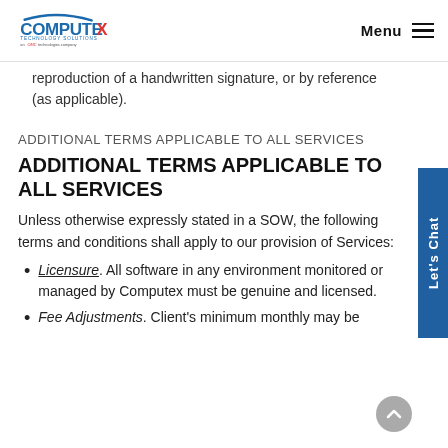Computex Technology Solutions — Menu
reproduction of a handwritten signature, or by reference (as applicable).
ADDITIONAL TERMS APPLICABLE TO ALL SERVICES
ADDITIONAL TERMS APPLICABLE TO ALL SERVICES
Unless otherwise expressly stated in a SOW, the following terms and conditions shall apply to our provision of Services:
Licensure. All software in any environment monitored or managed by Computex must be genuine and licensed.
Fee Adjustments. Client's minimum monthly may be